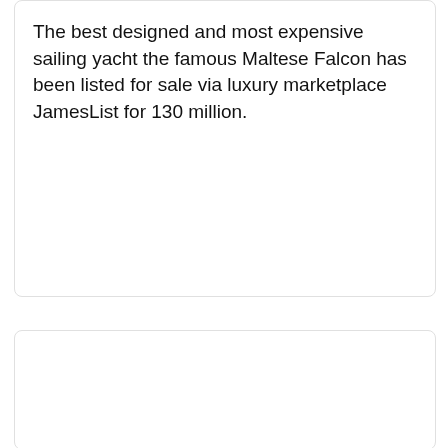The best designed and most expensive sailing yacht the famous Maltese Falcon has been listed for sale via luxury marketplace JamesList for 130 million.
[Figure (other): Empty white card/box, no visible content]